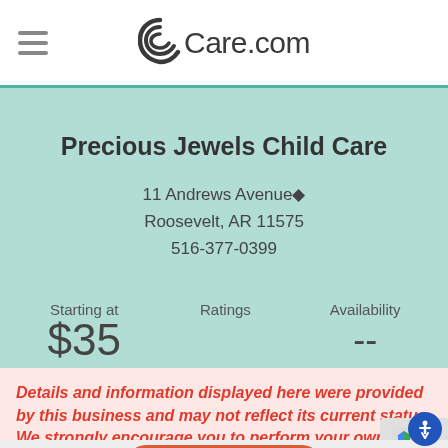Care.com
Precious Jewels Child Care
11 Andrews Avenue◆
Roosevelt, AR 11575
516-377-0399
Starting at
$35
per day
Ratings
Availability
--
Details and information displayed here were provided by this business and may not reflect its current status. We strongly encourage you to perform your own
Send Info